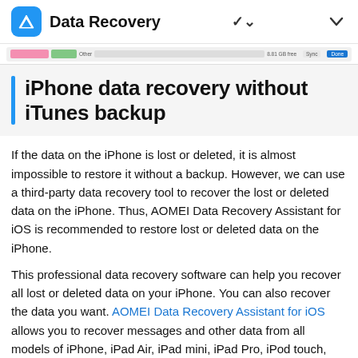Data Recovery
[Figure (screenshot): Partial screenshot of a device summary bar showing colored storage bars, labels like 'Other', '8.81 GB free', 'Sync', and a blue 'Done' button]
iPhone data recovery without iTunes backup
If the data on the iPhone is lost or deleted, it is almost impossible to restore it without a backup. However, we can use a third-party data recovery tool to recover the lost or deleted data on the iPhone. Thus, AOMEI Data Recovery Assistant for iOS is recommended to restore lost or deleted data on the iPhone.
This professional data recovery software can help you recover all lost or deleted data on your iPhone. You can also recover the data you want. AOMEI Data Recovery Assistant for iOS allows you to recover messages and other data from all models of iPhone, iPad Air, iPad mini, iPad Pro, iPod touch, and iPad,